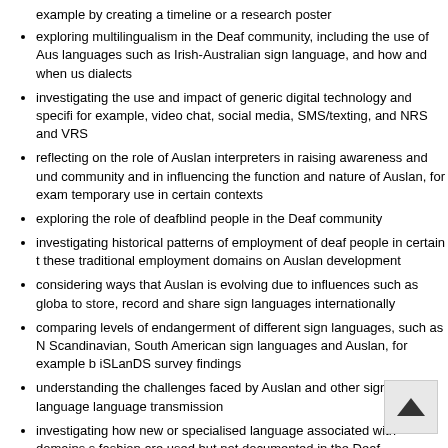example by creating a timeline or a research poster
exploring multilingualism in the Deaf community, including the use of Aus languages such as Irish-Australian sign language, and how and when us dialects
investigating the use and impact of generic digital technology and specifi for example, video chat, social media, SMS/texting, and NRS and VRS
reflecting on the role of Auslan interpreters in raising awareness and und community and in influencing the function and nature of Auslan, for exam temporary use in certain contexts
exploring the role of deafblind people in the Deaf community
investigating historical patterns of employment of deaf people in certain t these traditional employment domains on Auslan development
considering ways that Auslan is evolving due to influences such as globa to store, record and share sign languages internationally
comparing levels of endangerment of different sign languages, such as N Scandinavian, South American sign languages and Auslan, for example b iSLanDS survey findings
understanding the challenges faced by Auslan and other signed language language transmission
investigating how new or specialised language associated with domains s fashion are used but not documented in the Deaf community, and how su
identifying contexts and circumstances that support increased usage and for example, a workplace with several deaf employees
recognising reasons for the shared sense of identity of sign lan se community